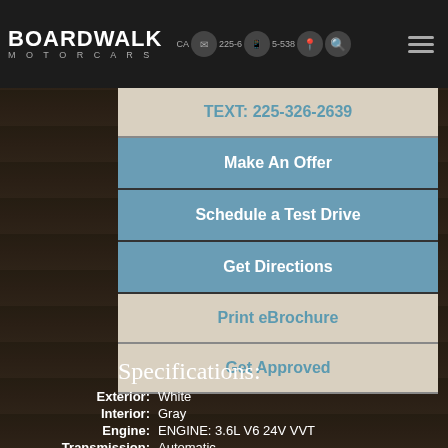BOARDWALK MOTORCARS  CA  225-6[]5-538
TEXT: 225-326-2639
Make An Offer
Schedule a Test Drive
Get Directions
Print eBrochure
Get Approved
Specifications:
Exterior: White
Interior: Gray
Engine: ENGINE: 3.6L V6 24V VVT
Transmission: Automatic
Drivetrain: Fwd